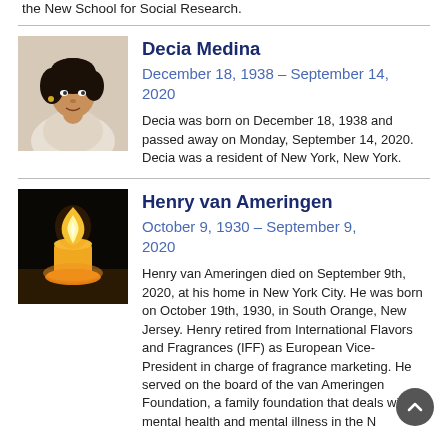the New School for Social Research.
[Figure (photo): Portrait photo of Decia Medina, a woman with dark curly hair]
Decia Medina
December 18, 1938 – September 14, 2020
Decia was born on December 18, 1938 and passed away on Monday, September 14, 2020. Decia was a resident of New York, New York.
[Figure (photo): Photo of a lit candle with orange flame against a dark background]
Henry van Ameringen
October 9, 1930 – September 9, 2020
Henry van Ameringen died on September 9th, 2020, at his home in New York City. He was born on October 19th, 1930, in South Orange, New Jersey. Henry retired from International Flavors and Fragrances (IFF) as European Vice-President in charge of fragrance marketing. He served on the board of the van Ameringen Foundation, a family foundation that deals with mental health and mental illness in the N